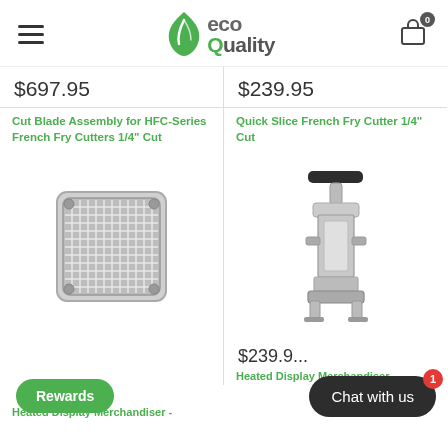eco quality — navigation header with hamburger menu and cart icon showing 0 items
$697.95
$239.95
Cut Blade Assembly for HFC-Series French Fry Cutters 1/4" Cut
Quick Slice French Fry Cutter 1/4" Cut
[Figure (photo): Cut blade assembly grid product image — stainless steel square blade assembly]
[Figure (photo): Quick Slice French Fry Cutter product image — tall metal fry cutter machine]
$239.95
Heated Display Merchandiser -
Heated Display Merchandiser -
Rewards
Chat with us